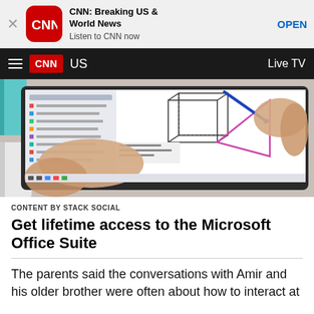[Figure (screenshot): App store banner for CNN: Breaking US & World News app with CNN icon, title, subtitle and OPEN button]
CNN | US | Live TV
[Figure (photo): Person drawing geometric shapes on a tablet/drawing surface with a stylus, showing a cube and triangle drawn in purple/pink marker]
CONTENT BY STACK SOCIAL
Get lifetime access to the Microsoft Office Suite
The parents said the conversations with Amir and his older brother were often about how to interact at...